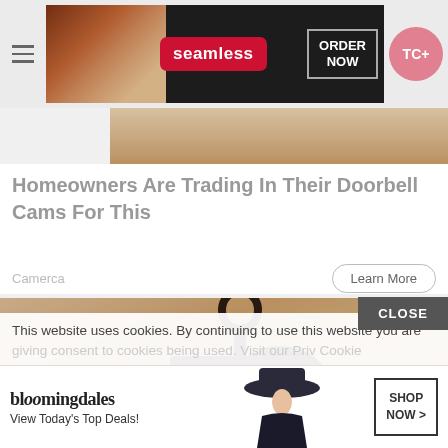[Figure (screenshot): Top navigation bar with hamburger menu icon on left, Seamless food delivery advertisement banner in center (dark background with pizza image, red Seamless logo, ORDER NOW button), and TC+ pink pill button on right]
[Figure (photo): Partial view of food/pizza image strip]
Homeowners Are Trading In Their Doorbell Cams For This
Camerca
Learn More
[Figure (photo): Close-up photo of an outdoor wall-mounted lantern/light fixture with dark metal frame and white bulb, mounted on a textured stucco wall]
This website uses cookies. By continuing to use this website you are giving consent to cookies being used. Visit our Priv Cookie
CLOSE
[Figure (screenshot): Bloomingdale's advertisement banner with logo, 'View Today's Top Deals!' text, model image, and SHOP NOW > button]